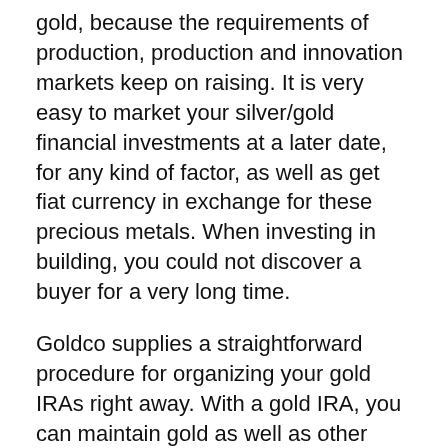gold, because the requirements of production, production and innovation markets keep on raising. It is very easy to market your silver/gold financial investments at a later date, for any kind of factor, as well as get fiat currency in exchange for these precious metals. When investing in building, you could not discover a buyer for a very long time.
Goldco supplies a straightforward procedure for organizing your gold IRAs right away. With a gold IRA, you can maintain gold as well as other precious metals in a self routed individual retirement account, as opposed to bonds or stocks.
To register an account, see the Goldco site